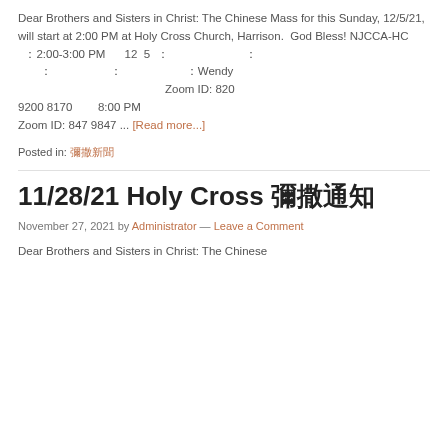Dear Brothers and Sisters in Christ: The Chinese Mass for this Sunday, 12/5/21, will start at 2:00 PM at Holy Cross Church, Harrison.  God Bless! NJCCA-HC
  : 2:00-3:00 PM      12  5  :                         :
       :                         :                         : Wendy
                                                              Zoom ID: 820 9200 8170        8:00 PM
Zoom ID: 847 9847 ... [Read more...]
Posted in: 彌撒新聞
11/28/21 Holy Cross 彌撒通知
November 27, 2021 by Administrator — Leave a Comment
Dear Brothers and Sisters in Christ: The Chinese